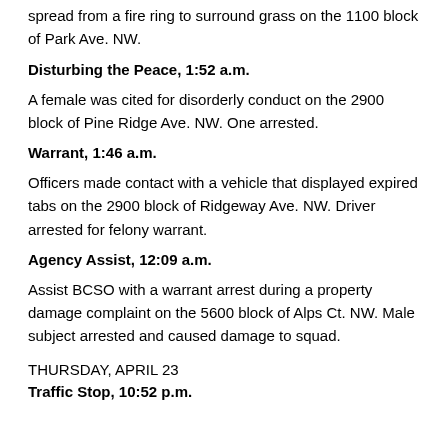spread from a fire ring to surround grass on the 1100 block of Park Ave. NW.
Disturbing the Peace, 1:52 a.m.
A female was cited for disorderly conduct on the 2900 block of Pine Ridge Ave. NW. One arrested.
Warrant, 1:46 a.m.
Officers made contact with a vehicle that displayed expired tabs on the 2900 block of Ridgeway Ave. NW. Driver arrested for felony warrant.
Agency Assist, 12:09 a.m.
Assist BCSO with a warrant arrest during a property damage complaint on the 5600 block of Alps Ct. NW. Male subject arrested and caused damage to squad.
THURSDAY, APRIL 23
Traffic Stop, 10:52 p.m.